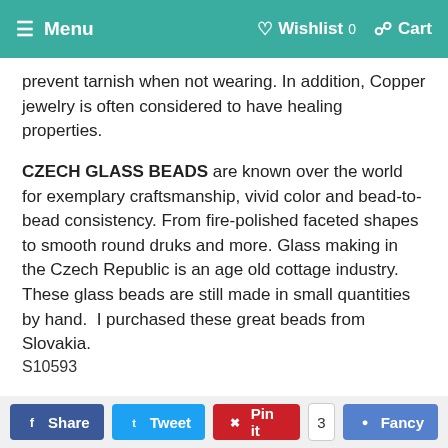Menu  Wishlist 0  Cart
prevent tarnish when not wearing. In addition, Copper jewelry is often considered to have healing properties.
CZECH GLASS BEADS are known over the world for exemplary craftsmanship, vivid color and bead-to-bead consistency. From fire-polished faceted shapes to smooth round druks and more. Glass making in the Czech Republic is an age old cottage industry. These glass beads are still made in small quantities by hand.  I purchased these great beads from Slovakia.
S10593
Share  Tweet  Pin it 3  Fancy